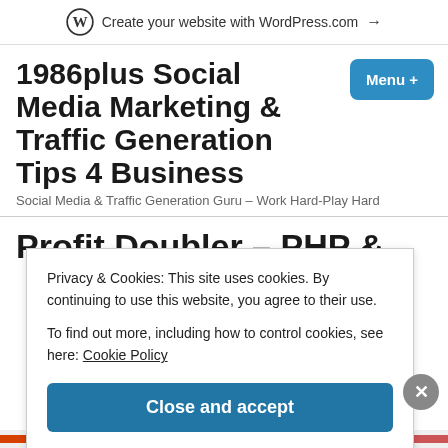Create your website with WordPress.com →
1986plus Social Media Marketing & Traffic Generation Tips 4 Business
Social Media & Traffic Generation Guru – Work Hard-Play Hard
Profit Doubler – PHP &
Privacy & Cookies: This site uses cookies. By continuing to use this website, you agree to their use.
To find out more, including how to control cookies, see here: Cookie Policy
Close and accept